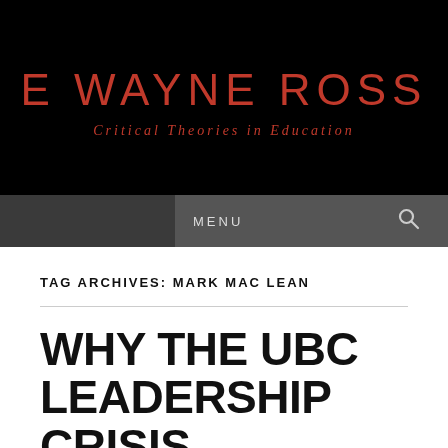E WAYNE ROSS
Critical Theories in Education
MENU
TAG ARCHIVES: MARK MAC LEAN
WHY THE UBC LEADERSHIP CRISIS MATTERS BEYOND